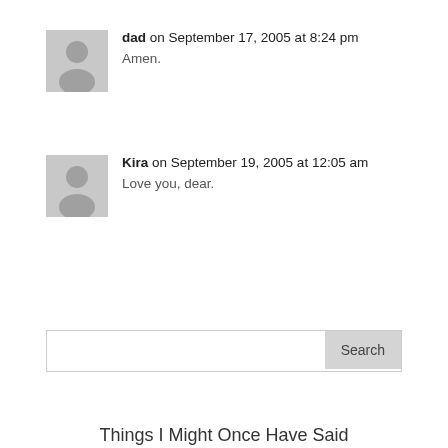dad on September 17, 2005 at 8:24 pm
Amen.
Kira on September 19, 2005 at 12:05 am
Love you, dear.
Search
Things I Might Once Have Said